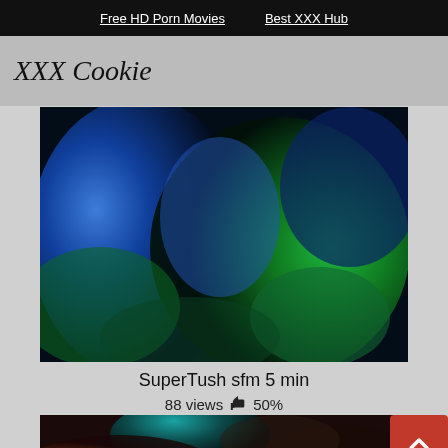Free HD Porn Movies   Best XXX Hub
XXX Cookie
[Figure (screenshot): Animated 3D render showing blue and green fantasy creature figures in close contact]
SuperTush sfm 5 min
88 views 👍 50%
[Figure (photo): Live action video thumbnail showing person with blue hair in sexual encounter]